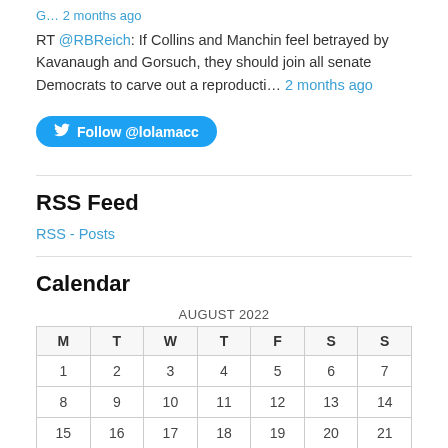G... 2 months ago
RT @RBReich: If Collins and Manchin feel betrayed by Kavanaugh and Gorsuch, they should join all senate Democrats to carve out a reproducti… 2 months ago
Follow @lolamacc
RSS Feed
RSS - Posts
Calendar
| M | T | W | T | F | S | S |
| --- | --- | --- | --- | --- | --- | --- |
| 1 | 2 | 3 | 4 | 5 | 6 | 7 |
| 8 | 9 | 10 | 11 | 12 | 13 | 14 |
| 15 | 16 | 17 | 18 | 19 | 20 | 21 |